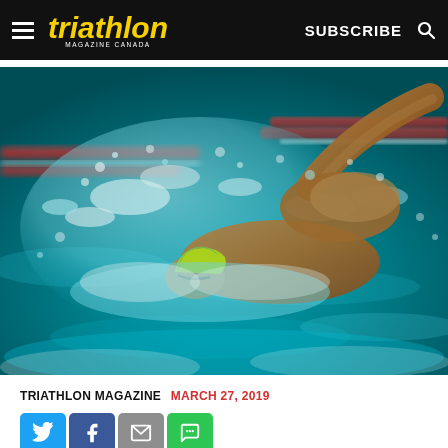triathlon MAGAZINE CANADA | SUBSCRIBE
[Figure (photo): A triathlete swimmer doing freestyle stroke in a pool, water splashing dramatically, red lane dividers visible in background, bokeh effect on background.]
TRIATHLON MAGAZINE MARCH 27, 2019
[Figure (infographic): Social media share buttons: Twitter (blue bird icon), Facebook (blue f icon), Email (grey envelope icon), SMS (green message icon)]